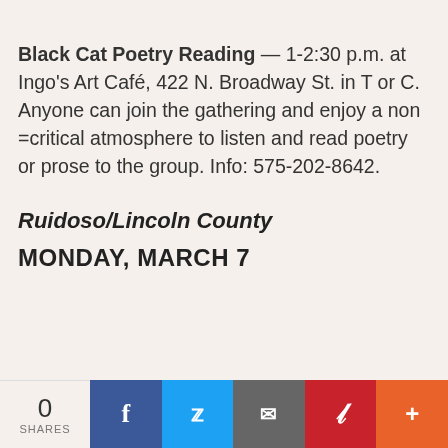…cropped top text…
Black Cat Poetry Reading — 1-2:30 p.m. at Ingo's Art Café, 422 N. Broadway St. in T or C. Anyone can join the gathering and enjoy a non =critical atmosphere to listen and read poetry or prose to the group. Info: 575-202-8642.
Ruidoso/Lincoln County
MONDAY, MARCH 7
0 SHARES | Facebook | Twitter | Email | Pinterest | More